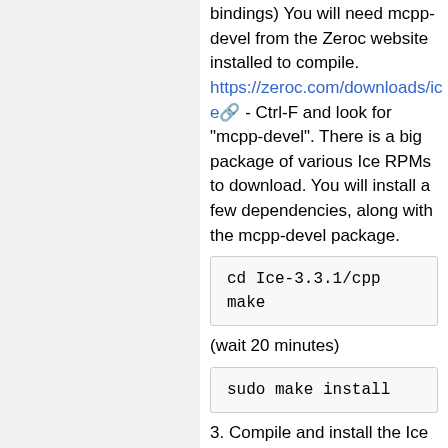bindings) You will need mcpp-devel from the Zeroc website installed to compile. https://zeroc.com/downloads/ice - Ctrl-F and look for "mcpp-devel". There is a big package of various Ice RPMs to download. You will install a few dependencies, along with the mcpp-devel package.
cd Ice-3.3.1/cpp
make
(wait 20 minutes)
sudo make install
3. Compile and install the Ice bindings for your preferred